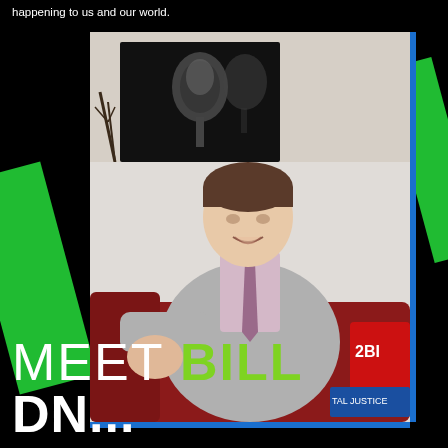happening to us and our world.
[Figure (photo): Man in gray blazer, pink plaid shirt and tie, seated on red leather chair/couch, smiling at camera. Background shows a black-and-white music microphone artwork on wall. A sign partially reads '2BI' and 'TAL JUSTICE' visible on right side.]
MEET BILL